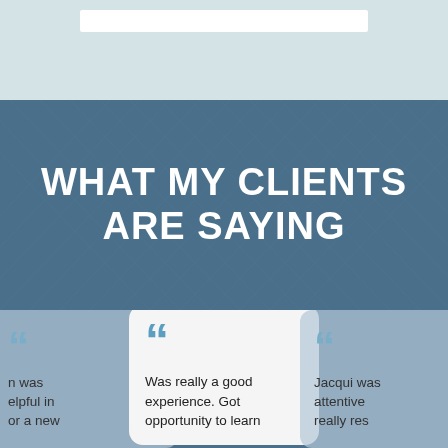[Figure (other): Light blue/grey top banner with a white horizontal bar element]
WHAT MY CLIENTS ARE SAYING
Was really a good experience. Got opportunity to learn
n was elpful in or a new
Jacqui was attentive really res